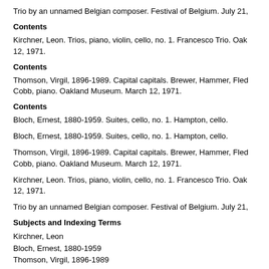Trio by an unnamed Belgian composer. Festival of Belgium. July 21,
Contents
Kirchner, Leon. Trios, piano, violin, cello, no. 1. Francesco Trio. Oak 12, 1971.
Contents
Thomson, Virgil, 1896-1989. Capital capitals. Brewer, Hammer, Fled Cobb, piano. Oakland Museum. March 12, 1971.
Contents
Bloch, Ernest, 1880-1959. Suites, cello, no. 1. Hampton, cello.
Bloch, Ernest, 1880-1959. Suites, cello, no. 1. Hampton, cello.
Thomson, Virgil, 1896-1989. Capital capitals. Brewer, Hammer, Fled Cobb, piano. Oakland Museum. March 12, 1971.
Kirchner, Leon. Trios, piano, violin, cello, no. 1. Francesco Trio. Oak 12, 1971.
Trio by an unnamed Belgian composer. Festival of Belgium. July 21,
Subjects and Indexing Terms
Kirchner, Leon
Bloch, Ernest, 1880-1959
Thomson, Virgil, 1896-1989
Stein, Gertrude, 1874-1946